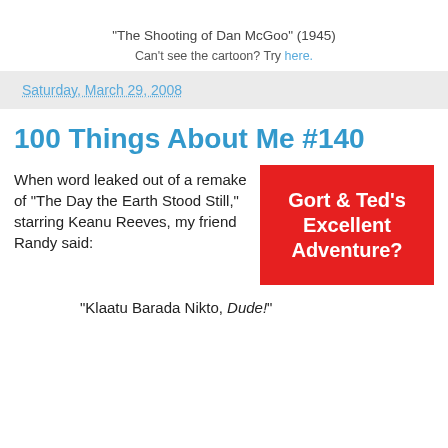"The Shooting of Dan McGoo" (1945)
Can't see the cartoon? Try here.
Saturday, March 29, 2008
100 Things About Me #140
When word leaked out of a remake of "The Day the Earth Stood Still," starring Keanu Reeves, my friend Randy said:
[Figure (other): Red box with white text: Gort & Ted's Excellent Adventure?]
"Klaatu Barada Nikto, Dude!"